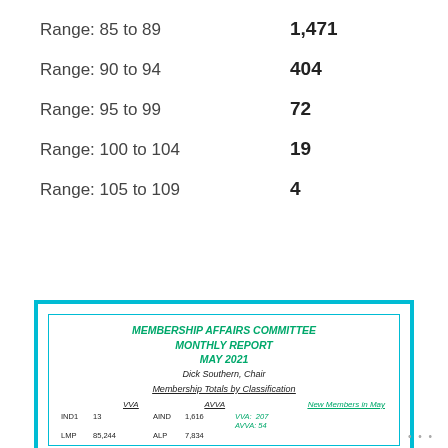Range: 85 to 89    1,471
Range: 90 to 94    404
Range: 95 to 99    72
Range: 100 to 104    19
Range: 105 to 109    4
|  | VVA |  | AVVA |  | New Members in May |
| --- | --- | --- | --- | --- | --- |
| IND1 | 13 | AIND | 1,616 | VVA: 207 |  |
| LMP | 85,244 | ALP | 7,834 | AVVA: 54 |  |